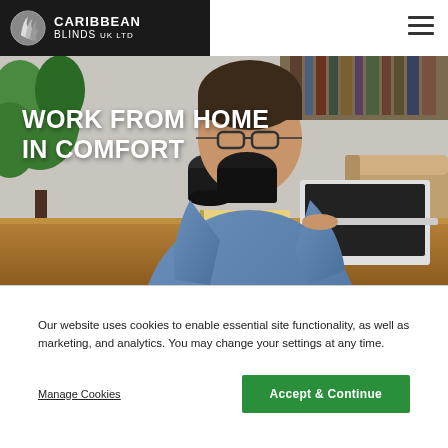[Figure (logo): Caribbean Blinds UK Ltd logo — white text on black background with circular striped icon]
[Figure (photo): Man in denim shirt drinking from a mug while working on a laptop at a wooden desk, with plants in background. Hero image.]
WORK FROM HOME IN COMFORT
Our website uses cookies to enable essential site functionality, as well as marketing, and analytics. You may change your settings at any time.
Manage Cookies
Accept & Continue